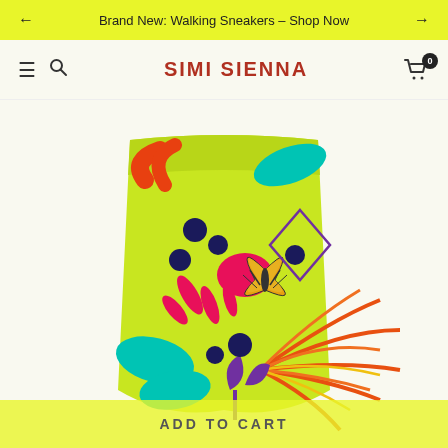Brand New: Walking Sneakers – Shop Now
SIMI SIENNA
[Figure (photo): Colorful tropical print leggings/pants with bright neon green background featuring leaves in teal, pink, and red/orange, dark navy dots, a butterfly motif in orange/yellow, and purple leaf accents]
ADD TO CART